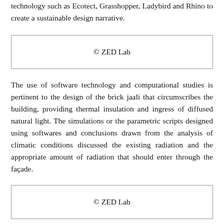technology such as Ecotect, Grasshopper, Ladybird and Rhino to create a sustainable design narrative.
[Figure (other): Box placeholder with copyright label: © ZED Lab]
The use of software technology and computational studies is pertinent to the design of the brick jaali that circumscribes the building, providing thermal insulation and ingress of diffused natural light. The simulations or the parametric scripts designed using softwares and conclusions drawn from the analysis of climatic conditions discussed the existing radiation and the appropriate amount of radiation that should enter through the façade.
[Figure (other): Box placeholder with copyright label: © ZED Lab]
Later running the simulations on each brick, we derived a composition that comprises arrangements/layers of bricks